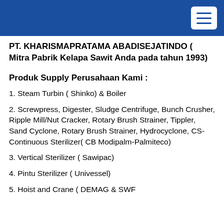PT. KHARISMAPRATAMA ABADISEJATINDO ( Mitra Pabrik Kelapa Sawit Anda pada tahun 1993)
Produk Supply Perusahaan Kami :
1. Steam Turbin ( Shinko) & Boiler
2. Screwpress, Digester, Sludge Centrifuge, Bunch Crusher, Ripple Mill/Nut Cracker, Rotary Brush Strainer, Tippler, Sand Cyclone, Rotary Brush Strainer, Hydrocyclone, CS-Continuous Sterilizer( CB Modipalm-Palmiteco)
3. Vertical Sterilizer ( Sawipac)
4. Pintu Sterilizer ( Univessel)
5. Hoist and Crane ( DEMAG & SWF